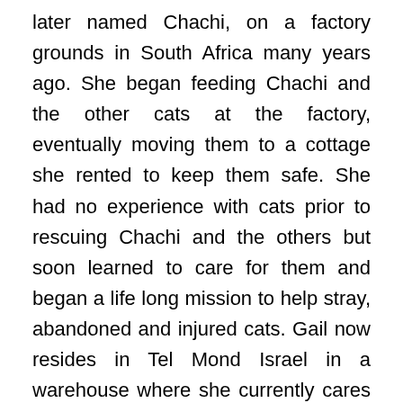later named Chachi, on a factory grounds in South Africa many years ago. She began feeding Chachi and the other cats at the factory, eventually moving them to a cottage she rented to keep them safe. She had no experience with cats prior to rescuing Chachi and the others but soon learned to care for them and began a life long mission to help stray, abandoned and injured cats. Gail now resides in Tel Mond Israel in a warehouse where she currently cares for approximately 150 cats, most neglected and abused, plus another 300 street cats. The next major step for Gail includes moving from the current warehouse location to a new property that will eventually become a clean and safe shelter for both her and the cats. To find out more about her work, the move and what life is like for street cats in Israel, I reached out to Gail who took time from her extremely busy schedule to answer some